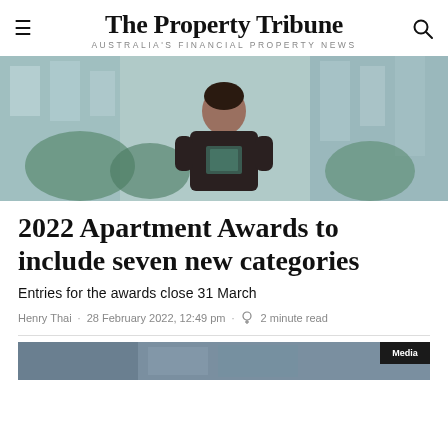The Property Tribune
AUSTRALIA'S FINANCIAL PROPERTY NEWS
[Figure (photo): Person holding a book/award, standing outdoors with blurred city building background]
2022 Apartment Awards to include seven new categories
Entries for the awards close 31 March
Henry Thai · 28 February 2022, 12:49 pm · 2 minute read
[Figure (photo): Bottom strip photo, partially visible, with Media badge]